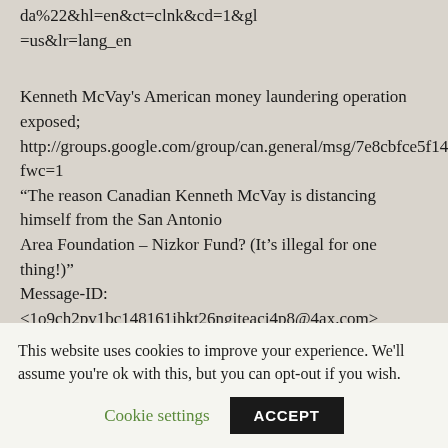da%22&hl=en&ct=clnk&cd=1&gl=us&lr=lang_en
Kenneth McVay's American money laundering operation exposed; http://groups.google.com/group/can.general/msg/7e8cbfce5f14ee8c?fwc=1 “The reason Canadian Kenneth McVay is distancing himself from the San Antonio Area Foundation – Nizkor Fund? (It's illegal for one thing!)” Message-ID: <1o9ch2pv1bc148161ihkt26ngjteacj4p8@4ax.com> http://groups.google.com/group/alt.revisionism/msg/e0028c076ae465102fwc=1
This website uses cookies to improve your experience. We'll assume you're ok with this, but you can opt-out if you wish.
Cookie settings
ACCEPT